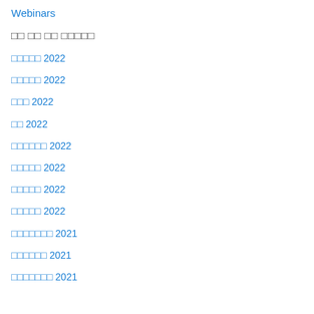Webinars
□□ □□ □□ □□□□□
□□□□□ 2022
□□□□□ 2022
□□□ 2022
□□ 2022
□□□□□□ 2022
□□□□□ 2022
□□□□□ 2022
□□□□□ 2022
□□□□□□□ 2021
□□□□□□ 2021
□□□□□□□ 2021